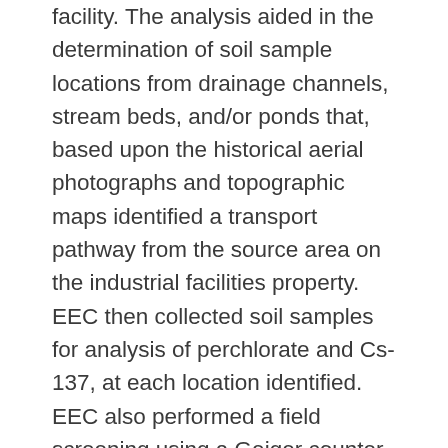facility. The analysis aided in the determination of soil sample locations from drainage channels, stream beds, and/or ponds that, based upon the historical aerial photographs and topographic maps identified a transport pathway from the source area on the industrial facilities property. EEC then collected soil samples for analysis of perchlorate and Cs-137, at each location identified. EEC also performed a field screening using a Geiger counter for radioactivity, at each location to establish a background count for radioactivity for the area. Data collected during the investigation determined that residential wells had been impacted by and/or that there was a table